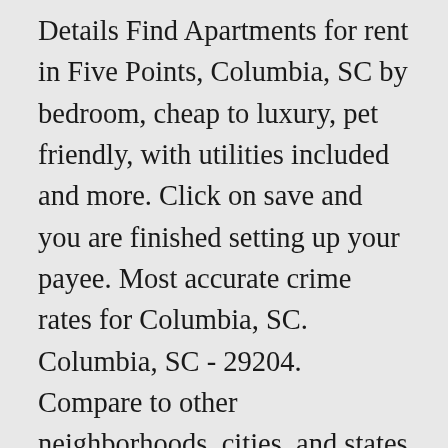Details Find Apartments for rent in Five Points, Columbia, SC by bedroom, cheap to luxury, pet friendly, with utilities included and more. Click on save and you are finished setting up your payee. Most accurate crime rates for Columbia, SC. Columbia, SC - 29204. Compare to other neighborhoods, cities, and states in the U.S. ZIP code 29205 is located in central South Carolina and covers a slightly less than average land area compared to other ZIP codes in the United States. 813 Harden Street 2, Columbia, SC 29205 View this property at 813 Harden Street 2, Columbia, SC 29205 In order to get more information on this clinic, click on the icons below. 2010 Census Database About 4029